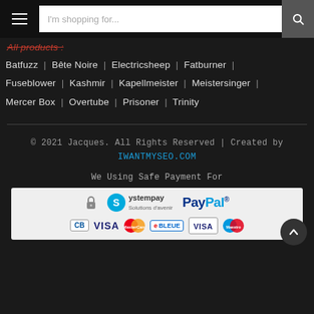I'm shopping for...
All products :
Batfuzz | Bête Noire | Electricsheep | Fatburner | Fuseblower | Kashmir | Kapellmeister | Meistersinger | Mercer Box | Overtube | Prisoner | Trinity
© 2021 Jacques. All Rights Reserved | Created by IWANTMYSEO.COM
We Using Safe Payment For
[Figure (logo): Payment logos: lock icon, Systempay, PayPal, CB, VISA, MasterCard, e-Carte Bleue, VISA Electron, Maestro]